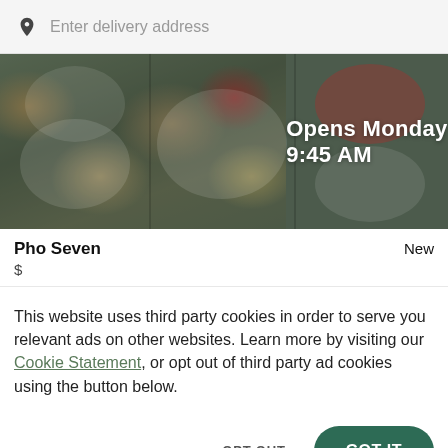Enter delivery address
[Figure (photo): Top-down view of various food dishes on a dark table, with a dark overlay. Text overlay reads 'Opens Monday 9:45 AM']
Opens Monday 9:45 AM
Pho Seven    New
$
This website uses third party cookies in order to serve you relevant ads on other websites. Learn more by visiting our Cookie Statement, or opt out of third party ad cookies using the button below.
OPT OUT
GOT IT